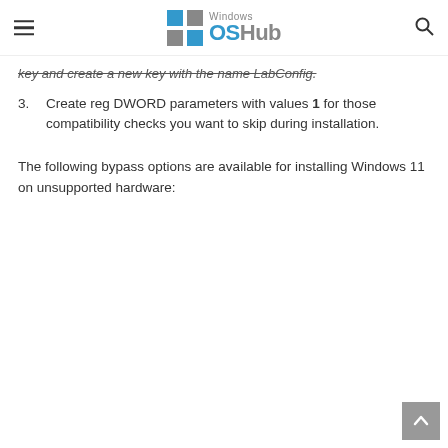Windows OSHub
key and create a new key with the name LabConfig.
Create reg DWORD parameters with values 1 for those compatibility checks you want to skip during installation.
The following bypass options are available for installing Windows 11 on unsupported hardware: